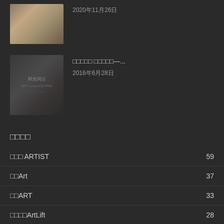2020年11月26日
[Figure (photo): Thumbnail image of article 1, brownish artistic photo]
[Figure (photo): Thumbnail image showing Chinese text 和光同尘 with dark background]
□□□□□ □□□□□—...
2016年6月28日
□□□□
□□□ ARTIST    59
□□Art    37
□□ART    33
□□□□ArtLift    28
□□OVERSEANEWS    25
□□□    24
□□CULTURE    24